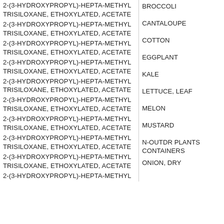| Chemical Name | Crop/Use |
| --- | --- |
| 2-(3-HYDROXYPROPYL)-HEPTA-METHYL TRISILOXANE, ETHOXYLATED, ACETATE | BROCCOLI |
| 2-(3-HYDROXYPROPYL)-HEPTA-METHYL TRISILOXANE, ETHOXYLATED, ACETATE | CANTALOUPE |
| 2-(3-HYDROXYPROPYL)-HEPTA-METHYL TRISILOXANE, ETHOXYLATED, ACETATE | COTTON |
| 2-(3-HYDROXYPROPYL)-HEPTA-METHYL TRISILOXANE, ETHOXYLATED, ACETATE | EGGPLANT |
| 2-(3-HYDROXYPROPYL)-HEPTA-METHYL TRISILOXANE, ETHOXYLATED, ACETATE | KALE |
| 2-(3-HYDROXYPROPYL)-HEPTA-METHYL TRISILOXANE, ETHOXYLATED, ACETATE | LETTUCE, LEAF |
| 2-(3-HYDROXYPROPYL)-HEPTA-METHYL TRISILOXANE, ETHOXYLATED, ACETATE | MELON |
| 2-(3-HYDROXYPROPYL)-HEPTA-METHYL TRISILOXANE, ETHOXYLATED, ACETATE | MUSTARD |
| 2-(3-HYDROXYPROPYL)-HEPTA-METHYL TRISILOXANE, ETHOXYLATED, ACETATE | N-OUTDR PLANTS CONTAINERS |
| 2-(3-HYDROXYPROPYL)-HEPTA-METHYL TRISILOXANE, ETHOXYLATED, ACETATE | ONION, DRY |